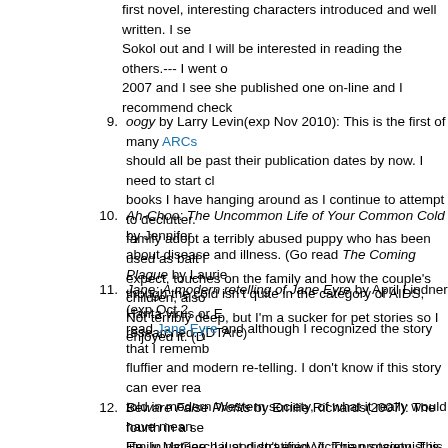first novel, interesting characters introduced and well written. I see Sokol out and I will be interested in reading the others.--- I went o 2007 and I see she published one on-line and I recommend check
9. oogy by Larry Levin(exp Nov 2010): This is the first of many ARCs should all be past their publication dates by now. I need to start cl books I have hanging around as I continue to attempt to declutter. family adopt a terribly abused puppy who has been used as bait i expect, touches on the family and how the couple's children, also Not terribly deep, but I'm a sucker for pet stories so I enjoyed it. (D
10. Ah-Choo: The Uncommon Life of Your Common Cold by Jennifer about disease and illness. (Go read The Coming Plague by Laurie though the cold isn't quite in the category of AIDS, Hanta virus or researched. (DTArc)
11. Jane: A modern retelling of Jane Eyre by April Lindner (exp Oct 2 read Jane Eyre and although I recognized the story that I rememb fluffier and modern re-telling. I don't know if this story can ever rea told in modern Western society, of what it really would have mean life, in patriarchal and stratified Victorian society. This re-telling did of class, gender, and morality that the original told so grippingly th years. Still, it was nice and light and YA (with only a tiny bit of non enjoyed it, but it wasn't Brontë. (DTArc)
12. Beware False Profits by Emilie Richards(2007): The fourth in a se Emily McGee, I just didn't enjoy it. The protagonist is a minister's parishioner who has "disappeared". Lots of plot twists later, includ embezzlement, and there's an answer. I just couldn't work up...